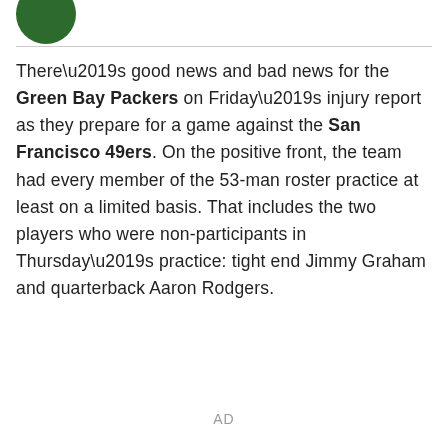[Figure (logo): Green Bay Packers logo circle (dark green) partially visible at top left]
There’s good news and bad news for the Green Bay Packers on Friday’s injury report as they prepare for a game against the San Francisco 49ers. On the positive front, the team had every member of the 53-man roster practice at least on a limited basis. That includes the two players who were non-participants in Thursday’s practice: tight end Jimmy Graham and quarterback Aaron Rodgers.
AD